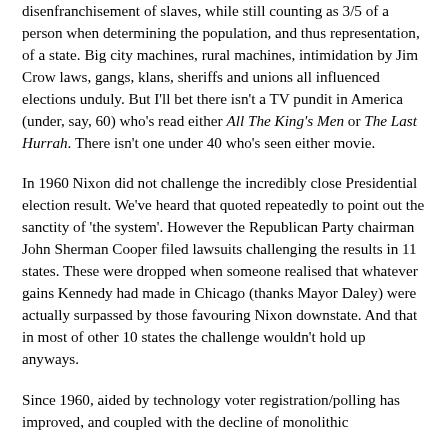disenfranchisement of slaves, while still counting as 3/5 of a person when determining the population, and thus representation, of a state. Big city machines, rural machines, intimidation by Jim Crow laws, gangs, klans, sheriffs and unions all influenced elections unduly. But I'll bet there isn't a TV pundit in America (under, say, 60) who's read either All The King's Men or The Last Hurrah. There isn't one under 40 who's seen either movie.
In 1960 Nixon did not challenge the incredibly close Presidential election result. We've heard that quoted repeatedly to point out the sanctity of 'the system'. However the Republican Party chairman John Sherman Cooper filed lawsuits challenging the results in 11 states. These were dropped when someone realised that whatever gains Kennedy had made in Chicago (thanks Mayor Daley) were actually surpassed by those favouring Nixon downstate. And that in most of other 10 states the challenge wouldn't hold up anyways.
Since 1960, aided by technology voter registration/polling has improved, and coupled with the decline of monolithic